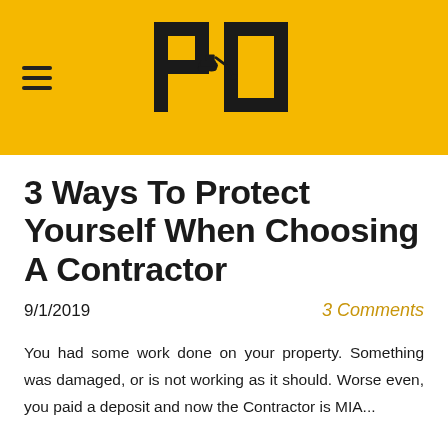[Figure (logo): Yellow header bar with hamburger menu icon on left and a construction company logo (stylized PD letters with excavator silhouette) centered on the bar]
3 Ways To Protect Yourself When Choosing A Contractor
9/1/2019	3 Comments
You had some work done on your property. Something was damaged, or is not working as it should. Worse even, you paid a deposit and now the Contractor is MIA...
Unfortunately, we hear about these things happening all the